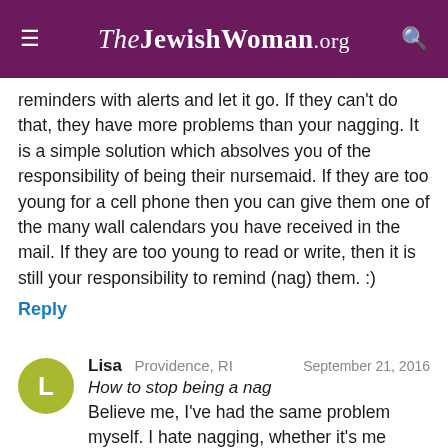TheJewishWoman.org
reminders with alerts and let it go. If they can't do that, they have more problems than your nagging. It is a simple solution which absolves you of the responsibility of being their nursemaid. If they are too young for a cell phone then you can give them one of the many wall calendars you have received in the mail. If they are too young to read or write, then it is still your responsibility to remind (nag) them. :)
Reply
Lisa  Providence, RI  September 21, 2016
How to stop being a nag
Believe me, I've had the same problem myself. I hate nagging, whether it's me doing it or someone else.